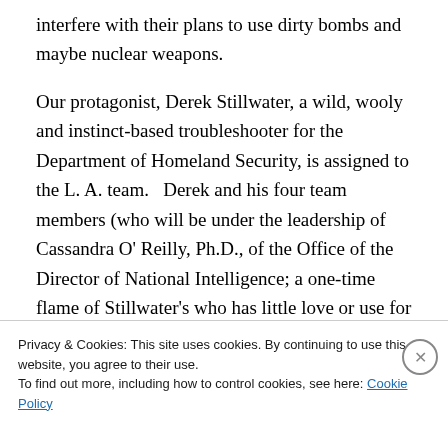interfere with their plans to use dirty bombs and maybe nuclear weapons.
Our protagonist, Derek Stillwater, a wild, wooly and instinct-based troubleshooter for the Department of Homeland Security, is assigned to the L. A. team.   Derek and his four team members (who will be under the leadership of Cassandra O' Reilly, Ph.D., of the Office of the Director of National Intelligence; a one-time flame of Stillwater's who has little love or use for him now) have just 48 hours to complete their impossible mission.   Oh,
Privacy & Cookies: This site uses cookies. By continuing to use this website, you agree to their use.
To find out more, including how to control cookies, see here: Cookie Policy